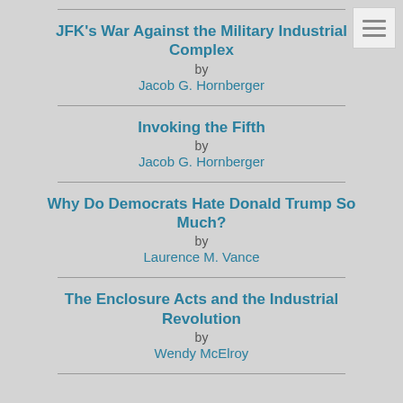JFK's War Against the Military Industrial Complex
by
Jacob G. Hornberger
Invoking the Fifth
by
Jacob G. Hornberger
Why Do Democrats Hate Donald Trump So Much?
by
Laurence M. Vance
The Enclosure Acts and the Industrial Revolution
by
Wendy McElroy